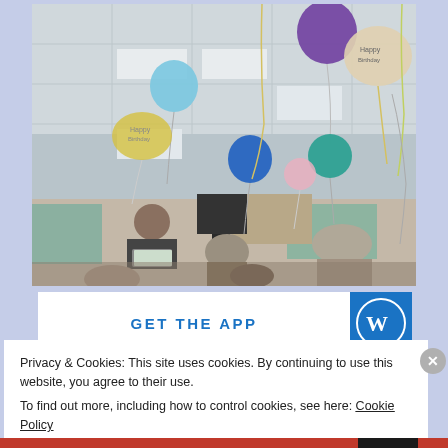[Figure (photo): Indoor room with colorful balloons floating near the ceiling – blue, purple, teal, and Happy Birthday mylar balloons with ribbons hanging down. In the background a person sits at a laptop, and several people are seated in the room with windows visible. A speaker/PA system is set up.]
GET THE APP
[Figure (logo): WordPress logo – blue circle with white W lettermark]
Privacy & Cookies: This site uses cookies. By continuing to use this website, you agree to their use.
To find out more, including how to control cookies, see here: Cookie Policy
Close and accept